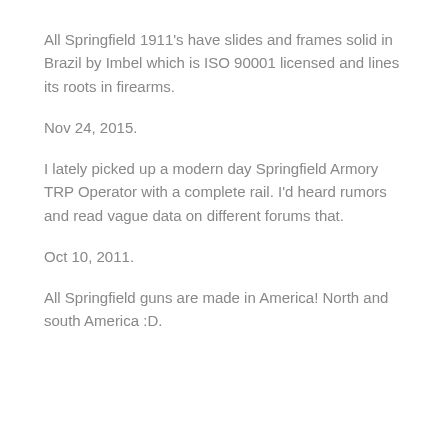All Springfield 1911's have slides and frames solid in Brazil by Imbel which is ISO 90001 licensed and lines its roots in firearms.
Nov 24, 2015.
I lately picked up a modern day Springfield Armory TRP Operator with a complete rail. I'd heard rumors and read vague data on different forums that.
Oct 10, 2011.
All Springfield guns are made in America! North and south America :D.